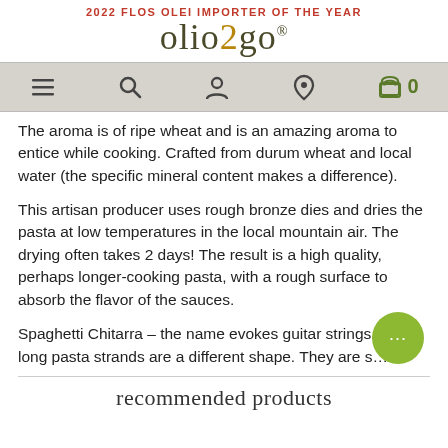2022 FLOS OLEI IMPORTER OF THE YEAR
olio2go
[Figure (screenshot): Navigation bar with menu, search, account, location, and cart icons]
The aroma is of ripe wheat and is an amazing aroma to entice while cooking. Crafted from durum wheat and local water (the specific mineral content makes a difference).
This artisan producer uses rough bronze dies and dries the pasta at low temperatures in the local mountain air. The drying often takes 2 days! The result is a high quality, perhaps longer-cooking pasta, with a rough surface to absorb the flavor of the sauces.
Spaghetti Chitarra – the name evokes guitar strings. These long pasta strands are a different shape. They are s…
recommended products